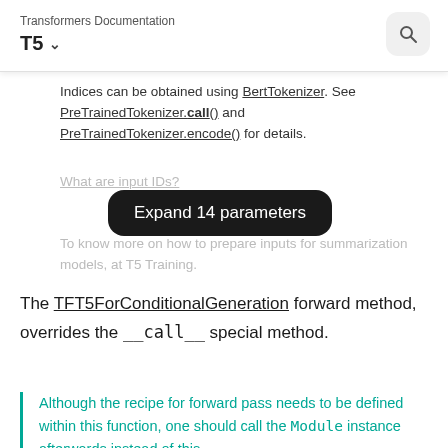Transformers Documentation
T5
Indices can be obtained using BertTokenizer. See PreTrainedTokenizer.call() and PreTrainedTokenizer.encode() for details.
What are input IDs?
[Figure (other): Tooltip overlay showing 'Expand 14 parameters' button in dark rounded rectangle]
To know more on how to prepare inputs for summarization models, at T5 Training.
The TFT5ForConditionalGeneration forward method, overrides the __call__ special method.
Although the recipe for forward pass needs to be defined within this function, one should call the Module instance afterwards instead of this